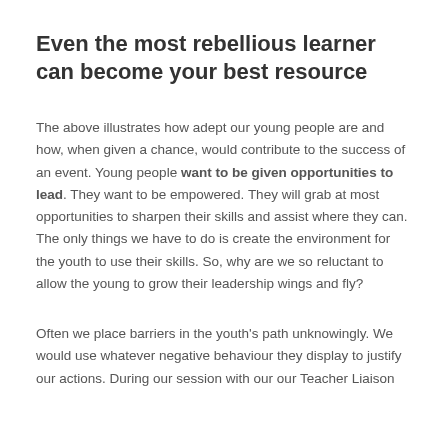Even the most rebellious learner can become your best resource
The above illustrates how adept our young people are and how, when given a chance, would contribute to the success of an event. Young people want to be given opportunities to lead. They want to be empowered. They will grab at most opportunities to sharpen their skills and assist where they can. The only things we have to do is create the environment for the youth to use their skills. So, why are we so reluctant to allow the young to grow their leadership wings and fly?
Often we place barriers in the youth's path unknowingly. We would use whatever negative behaviour they display to justify our actions. During our session with our our Teacher Liaison